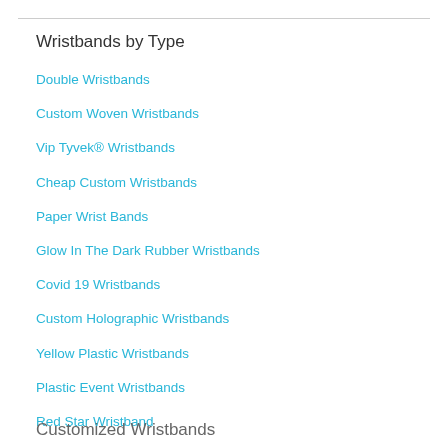Wristbands by Type
Double Wristbands
Custom Woven Wristbands
Vip Tyvek® Wristbands
Cheap Custom Wristbands
Paper Wrist Bands
Glow In The Dark Rubber Wristbands
Covid 19 Wristbands
Custom Holographic Wristbands
Yellow Plastic Wristbands
Plastic Event Wristbands
Red Star Wristband
Neon Wristbands
Customized Wristbands